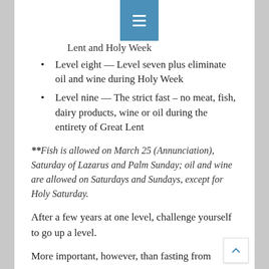≡ (navigation menu icon)
Lent and Holy Week
Level eight — Level seven plus eliminate oil and wine during Holy Week
Level nine — The strict fast – no meat, fish, dairy products, wine or oil during the entirety of Great Lent
**Fish is allowed on March 25 (Annunciation), Saturday of Lazarus and Palm Sunday; oil and wine are allowed on Saturdays and Sundays, except for Holy Saturday.
After a few years at one level, challenge yourself to go up a level.
More important, however, than fasting from